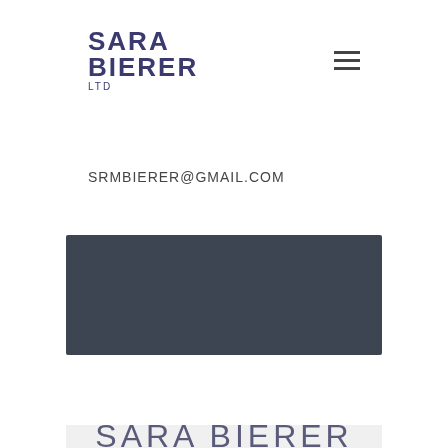SARA BIERER LTD
SRMBIERER@GMAIL.COM
[Figure (other): Dark gray rectangular banner placeholder]
SARA BIERER